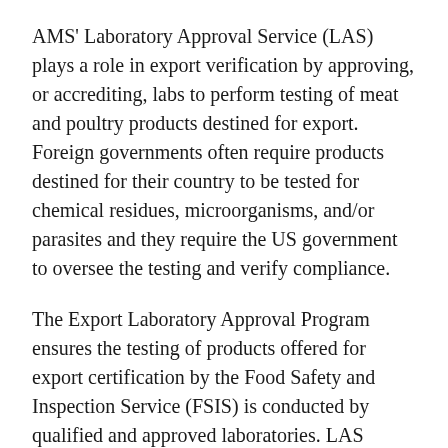AMS' Laboratory Approval Service (LAS) plays a role in export verification by approving, or accrediting, labs to perform testing of meat and poultry products destined for export. Foreign governments often require products destined for their country to be tested for chemical residues, microorganisms, and/or parasites and they require the US government to oversee the testing and verify compliance.
The Export Laboratory Approval Program ensures the testing of products offered for export certification by the Food Safety and Inspection Service (FSIS) is conducted by qualified and approved laboratories. LAS collaborates with FSIS, the Foreign Agricultural Service (FAS), and the meat and poultry industries to administer a flexible and comprehensive program to provide reliable analyses of pesticide residues, environmental contaminants, veterinary drug residues, antibiotic residues, microorganisms, and parasites.